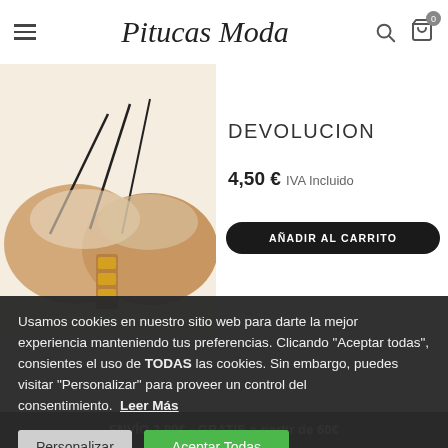Pitucas Moda
[Figure (photo): Close-up product photo of a strapless adhesive bra in beige/nude color with gold metallic connector detail in the center, on a white background.]
DEVOLUCION
4,50 € IVA Incluido
AÑADIR AL CARRITO
Usamos cookies en nuestro sitio web para darte la mejor experiencia manteniendo tus preferencias. Clicando "Aceptar todas", consientes el uso de TODAS las cookies. Sin embargo, puedes visitar "Personalizar" para proveer un control del consentimiento.  Leer Más
Personalizar
Aceptar Todas
ENVÍO 3,99€ - GRATIS a partir de 60€